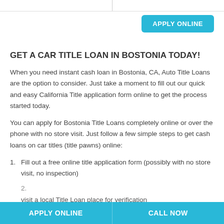GET A CAR TITLE LOAN IN BOSTONIA TODAY!
When you need instant cash loan in Bostonia, CA, Auto Title Loans are the option to consider. Just take a moment to fill out our quick and easy California Title application form online to get the process started today.
You can apply for Bostonia Title Loans completely online or over the phone with no store visit. Just follow a few simple steps to get cash loans on car titles (title pawns) online:
Fill out a free online title application form (possibly with no store visit, no inspection)
visit a local Title Loan place for verification